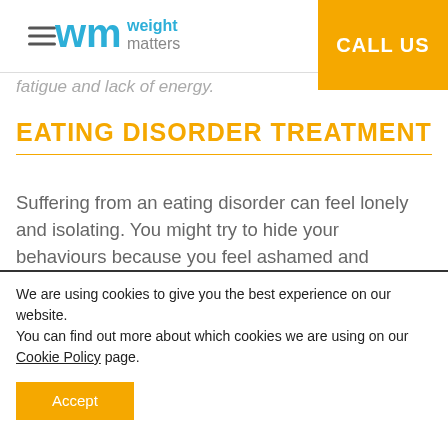Weight Matters — CALL US
fatigue and lack of energy.
EATING DISORDER TREATMENT
Suffering from an eating disorder can feel lonely and isolating. You might try to hide your behaviours because you feel ashamed and embarrassed, or you are afraid that others may judge you.
We are using cookies to give you the best experience on our website.
You can find out more about which cookies we are using on our Cookie Policy page.
Accept